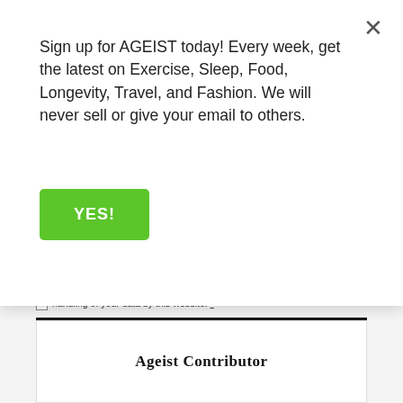Sign up for AGEIST today! Every week, get the latest on Exercise, Sleep, Food, Longevity, Travel, and Fashion. We will never sell or give your email to others.
YES!
handling of your data by this website. *
POST COMMENT
Ageist Contributor